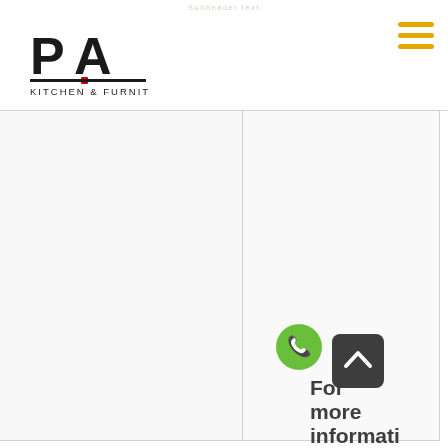[Figure (logo): PA Kitchen & Furniture logo with stylized P and A letters and red dot accent, with 'KITCHEN & FURNITURE' text below]
[Figure (other): Hamburger menu icon with three orange/yellow horizontal bars]
[Figure (photo): Left image panel - appears to be a kitchen or furniture photo, largely white/blank in this view]
[Figure (photo): Right image panel - appears to be a kitchen or furniture photo, largely white/blank in this view]
[Figure (other): Green circular phone/call button icon]
[Figure (other): Dark grey scroll-to-top button with upward chevron]
For more informati